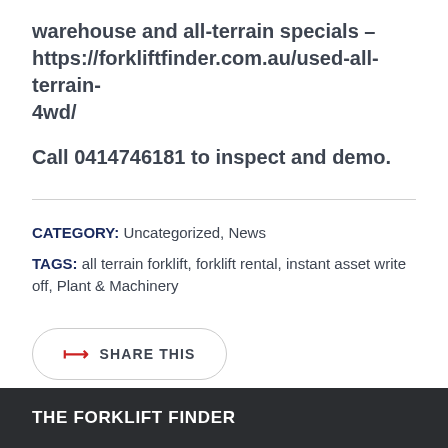warehouse and all-terrain specials – https://forkliftfinder.com.au/used-all-terrain-4wd/
Call 0414746181 to inspect and demo.
CATEGORY: Uncategorized, News
TAGS: all terrain forklift, forklift rental, instant asset write off, Plant & Machinery
SHARE THIS
THE FORKLIFT FINDER